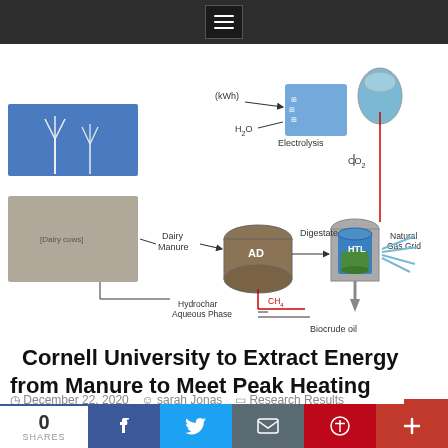[Figure (schematic): Engineering schematic diagram showing a biogas/bioenergy system: wind turbines (kWh) → Electrolysis (H2O input) → connected to AD (Anaerobic Digestion) unit receiving Dairy Manure → Digestate output → HTL (Hydrothermal Liquefaction) unit → Natural Gas Grid (CH4), CO2 recycled, CH4 from AD recycled, Biocrude oil output, Hydrochar Aqueous Phase output. A photo of dairy cows is shown at lower left.]
Cornell University to Extract Energy from Manure to Meet Peak Heating Demands
December 22, 2020   sarah Jonas   Research Results
Cornell University is developing a system to extract energy